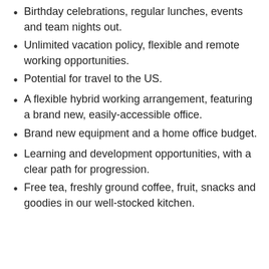Birthday celebrations, regular lunches, events and team nights out.
Unlimited vacation policy, flexible and remote working opportunities.
Potential for travel to the US.
A flexible hybrid working arrangement, featuring a brand new, easily-accessible office.
Brand new equipment and a home office budget.
Learning and development opportunities, with a clear path for progression.
Free tea, freshly ground coffee, fruit, snacks and goodies in our well-stocked kitchen.